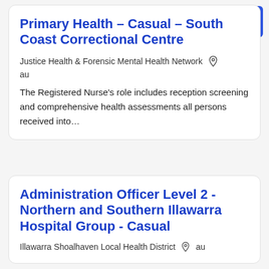[Figure (other): Hamburger menu button (blue square with three white horizontal lines) in top right corner]
Primary Health - Casual - South Coast Correctional Centre
Justice Health & Forensic Mental Health Network  au
The Registered Nurse's role includes reception screening and comprehensive health assessments all persons received into…
Administration Officer Level 2 - Northern and Southern Illawarra Hospital Group - Casual
Illawarra Shoalhaven Local Health District  au